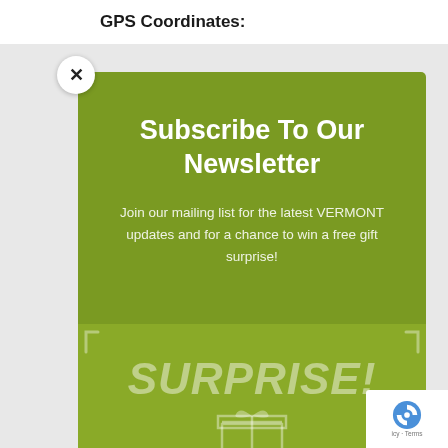GPS Coordinates:
Subscribe To Our Newsletter
Join our mailing list for the latest VERMONT updates and for a chance to win a free gift surprise!
[Figure (illustration): Green box with italic text reading SURPRISE! and GIFT! with a gift box icon illustration, partially visible]